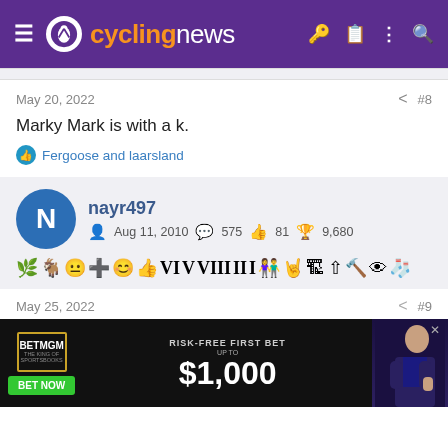cyclingnews
May 20, 2022   #8
Marky Mark is with a k.
Fergoose and laarsland
nayr497  Aug 11, 2010  575  81  9,680
May 25, 2022   #9
[Figure (screenshot): BetMGM advertisement banner: RISK-FREE FIRST BET UP TO $1,000 with BET NOW button]